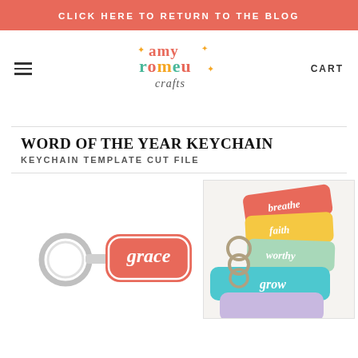CLICK HERE TO RETURN TO THE BLOG
[Figure (logo): Amy Romeu Crafts logo with colorful retro lettering]
WORD OF THE YEAR KEYCHAIN
KEYCHAIN TEMPLATE CUT FILE
[Figure (illustration): Keychain with pink rounded rectangle tag reading 'grace' in white script]
[Figure (photo): Photo of multiple colorful keychains with words: breathe, faith, worthy, grow]